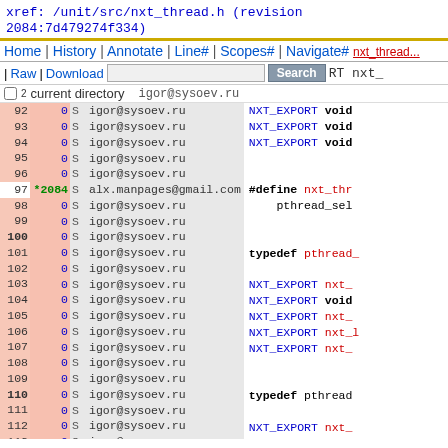xref: /unit/src/nxt_thread.h (revision 2084:7d479274f334)
Home | History | Annotate | Line# | Scopes# | Navigate#
| Raw | Download   [Search]   | RT nxt_
current directory
| line | rev | S | author | code |
| --- | --- | --- | --- | --- |
| 92 | 0 | S | igor@sysoev.ru | NXT_EXPORT void |
| 93 | 0 | S | igor@sysoev.ru | NXT_EXPORT void |
| 94 | 0 | S | igor@sysoev.ru | NXT_EXPORT void |
| 95 | 0 | S | igor@sysoev.ru |  |
| 96 | 0 | S | igor@sysoev.ru |  |
| 97 | *2084 | S | alx.manpages@gmail.com | #define nxt_thr |
| 98 | 0 | S | igor@sysoev.ru |     pthread_sel |
| 99 | 0 | S | igor@sysoev.ru |  |
| 100 | 0 | S | igor@sysoev.ru |  |
| 101 | 0 | S | igor@sysoev.ru | typedef pthread |
| 102 | 0 | S | igor@sysoev.ru |  |
| 103 | 0 | S | igor@sysoev.ru | NXT_EXPORT nxt_ |
| 104 | 0 | S | igor@sysoev.ru | NXT_EXPORT void |
| 105 | 0 | S | igor@sysoev.ru | NXT_EXPORT nxt_ |
| 106 | 0 | S | igor@sysoev.ru | NXT_EXPORT nxt_ |
| 107 | 0 | S | igor@sysoev.ru | NXT_EXPORT nxt_ |
| 108 | 0 | S | igor@sysoev.ru |  |
| 109 | 0 | S | igor@sysoev.ru |  |
| 110 | 0 | S | igor@sysoev.ru | typedef pthread |
| 111 | 0 | S | igor@sysoev.ru |  |
| 112 | 0 | S | igor@sysoev.ru | NXT_EXPORT nxt_ |
| 113 | 0 | S | igor@sysoev.ru | NXT_EXPORT void |
| 114 | 0 | S | igor@sysoev.ru | NXT_EXPORT nxt_ |
| 115 | 0 | S | igor@sysoev.ru | NXT_EXPORT |